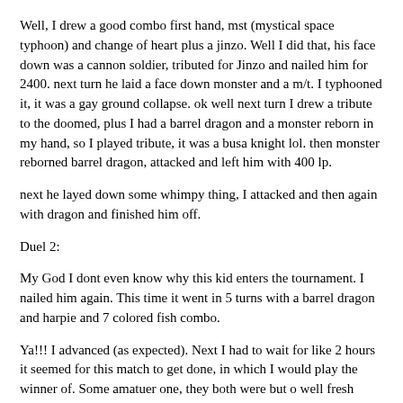Well, I drew a good combo first hand, mst (mystical space typhoon) and change of heart plus a jinzo. Well I did that, his face down was a cannon soldier, tributed for Jinzo and nailed him for 2400. next turn he laid a face down monster and a m/t. I typhooned it, it was a gay ground collapse. ok well next turn I drew a tribute to the doomed, plus I had a barrel dragon and a monster reborn in my hand, so I played tribute, it was a busa knight lol. then monster reborned barrel dragon, attacked and left him with 400 lp.
next he layed down some whimpy thing, I attacked and then again with dragon and finished him off.
Duel 2:
My God I dont even know why this kid enters the tournament. I nailed him again. This time it went in 5 turns with a barrel dragon and harpie and 7 colored fish combo.
Ya!!! I advanced (as expected). Next I had to wait for like 2 hours it seemed for this match to get done, in which I would play the winner of. Some amatuer one, they both were but o well fresh meat u know? lol.
Duel 1: Me vs. Mark